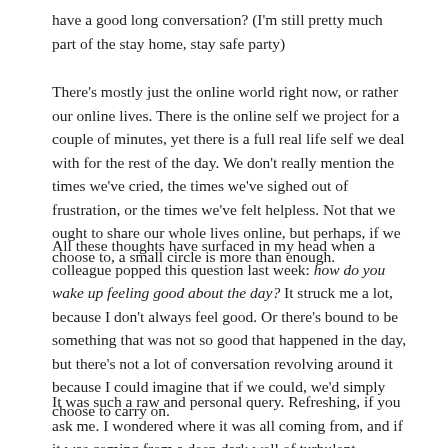have a good long conversation? (I'm still pretty much part of the stay home, stay safe party)
There's mostly just the online world right now, or rather our online lives. There is the online self we project for a couple of minutes, yet there is a full real life self we deal with for the rest of the day. We don't really mention the times we've cried, the times we've sighed out of frustration, or the times we've felt helpless. Not that we ought to share our whole lives online, but perhaps, if we choose to, a small circle is more than enough.
All these thoughts have surfaced in my head when a colleague popped this question last week: how do you wake up feeling good about the day? It struck me a lot, because I don't always feel good. Or there's bound to be something that was not so good that happened in the day, but there's not a lot of conversation revolving around it because I could imagine that if we could, we'd simply choose to carry on.
It was such a raw and personal query. Refreshing, if you ask me. I wondered where it was all coming from, and if it was coming from a deep dark well of turbulent thoughts and weariness